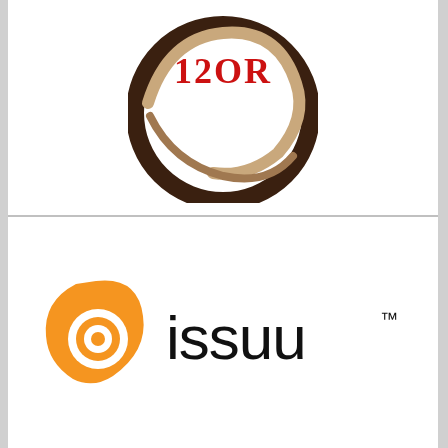[Figure (logo): 12OR logo: circular ring design in dark brown/chocolate with tan/beige inner swirl, text '12OR' in bold red serif font at the top center of the circle]
[Figure (logo): Issuu logo: orange teardrop/shield shape with concentric white and orange circles inside, followed by the word 'issuu' in black lowercase sans-serif font with a trademark symbol]